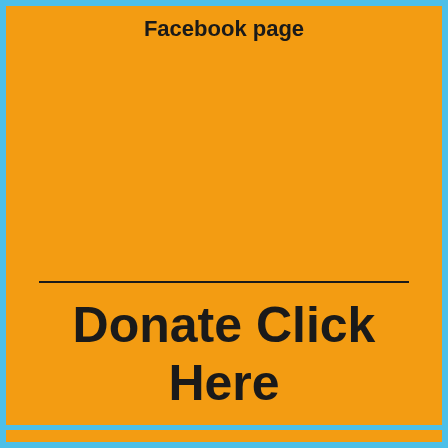Facebook page
Donate Click Here